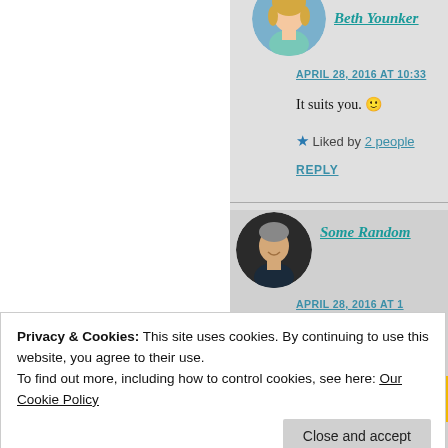Beth Younker
APRIL 28, 2016 AT 10:33
It suits you. 🙂
★ Liked by 2 people
REPLY
Some Random
APRIL 28, 2016 AT 1
Privacy & Cookies: This site uses cookies. By continuing to use this website, you agree to their use.
To find out more, including how to control cookies, see here: Our Cookie Policy
Close and accept